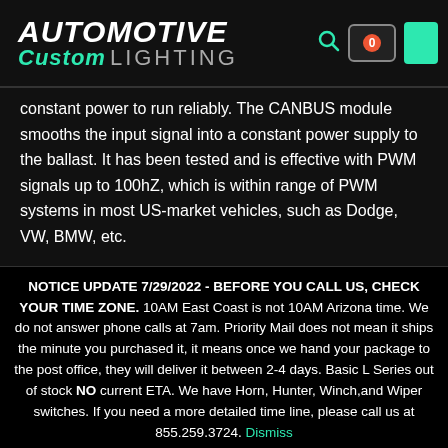[Figure (logo): Automotive Custom Lighting logo with teal accent and cart/search icons]
constant power to run reliably. The CANBUS module smooths the input signal into a constant power supply to the ballast. It has been tested and is effective with PWM signals up to 100hZ, which is within range of PWM systems in most US-market vehicles, such as Dodge, VW, BMW, etc.
We recommend using high-quality aftermarket bulbs with this ballast, such as CNLight, or an OEM-grade bulb such as Philips
NOTICE UPDATE 7/29/2022 - BEFORE YOU CALL US, CHECK YOUR TIME ZONE. 10AM East Coast is not 10AM Arizona time. We do not answer phone calls at 7am. Priority Mail does not mean it ships the minute you purchased it, it means once we hand your package to the post office, they will deliver it between 2-4 days. Basic L Series out of stock NO current ETA. We have Horn, Hunter, Winch,and Wiper switches. If you need a more detailed time line, please call us at 855.259.3724. Dismiss